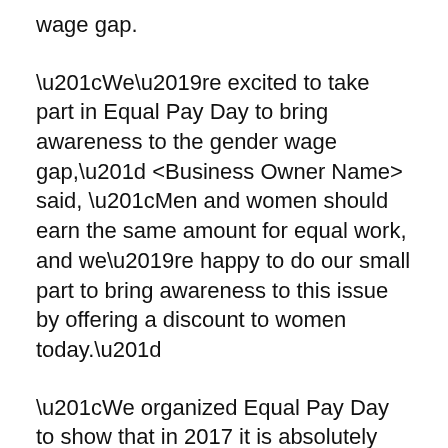wage gap.
“We’re excited to take part in Equal Pay Day to bring awareness to the gender wage gap,” <Business Owner Name> said, “Men and women should earn the same amount for equal work, and we’re happy to do our small part to bring awareness to this issue by offering a discount to women today.”
“We organized Equal Pay Day to show that in 2017 it is absolutely ridiculous that women and men aren’t paid the same for equal work,” said Anna Scholl, Executive Director of Progress Virginia, “If we closed the wage gap today, it would mean more money in families’ pockets and more customers for local businesses, providing a shot in the arm for our